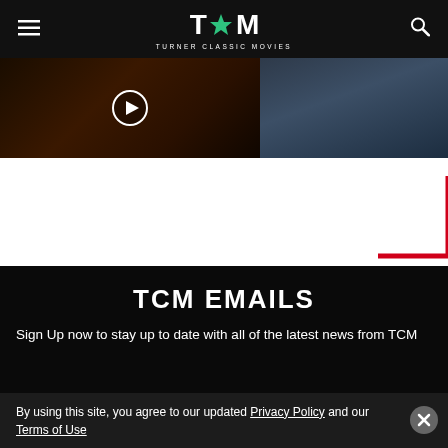TCM - Turner Classic Movies
[Figure (screenshot): Two side-by-side video thumbnail images. Left image shows a dark brown scene with a play button overlay circle. Right image shows a dark blue-grey scene.]
TCM EMAILS
Sign Up now to stay up to date with all of the latest news from TCM
By using this site, you agree to our updated Privacy Policy and our Terms of Use